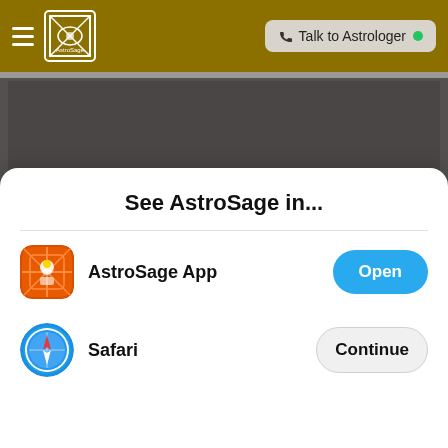[Figure (screenshot): AstroSage mobile app navigation bar with hamburger menu, AstroSage logo, and 'Talk to Astrologer' button with green dot]
[Figure (screenshot): Dark gray content area of the AstroSage website/app]
See AstroSage in...
[Figure (logo): AstroSage app icon - orange/red background with decorative cross pattern and white figure]
AstroSage App
Open
[Figure (logo): Safari browser icon - blue compass/globe icon]
Safari
Continue